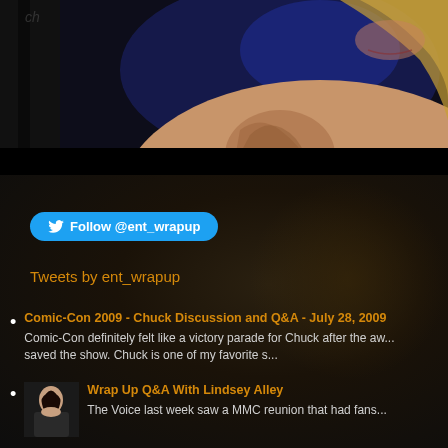[Figure (photo): Partial view of a blonde woman with a tattoo on her shoulder, photographed against a dark blue/black background. Upper chest and lower face visible.]
Follow @ent_wrapup
Tweets by ent_wrapup
Comic-Con 2009 - Chuck Discussion and Q&A - July 28, 2009
Comic-Con definitely felt like a victory parade for Chuck after the aw... saved the show. Chuck is one of my favorite s...
Wrap Up Q&A With Lindsey Alley
The Voice last week saw a MMC reunion that had fans...